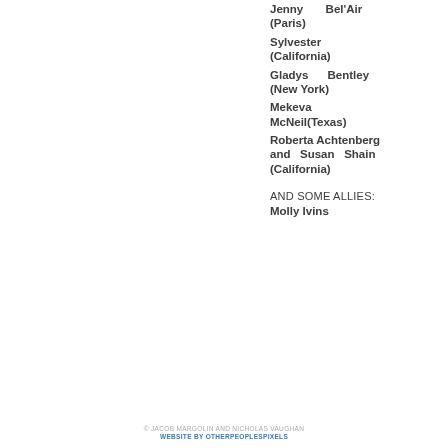Jenny Bel'Air (Paris)
Sylvester (California)
Gladys Bentley (New York)
Mekeva McNeil(Texas)
Roberta Achtenberg and Susan Shain (California)
AND SOME ALLIES:
Molly Ivins
© JACOB MARGOLIN AND NICHOLAS VAUGHAN
WEBSITE BY OTHERPEOPLESPIXELS